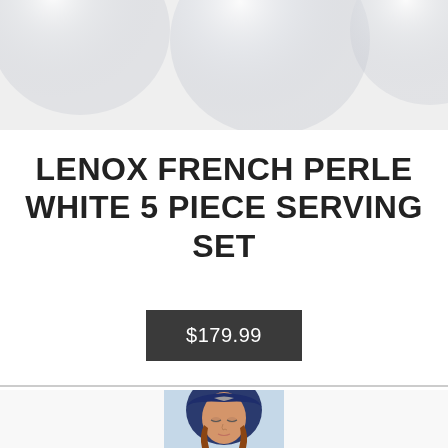[Figure (photo): Top portion showing glass/crystal serving pieces with translucent appearance against light background]
LENOX FRENCH PERLE WHITE 5 PIECE SERVING SET
$179.99
[Figure (photo): Bottom section showing a ceramic or porcelain religious figurine depicting a woman's face with blue hood/veil and peaceful downcast expression]